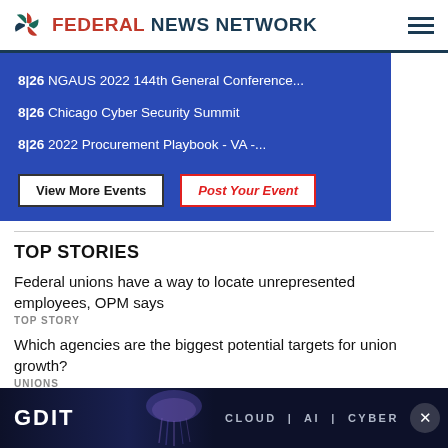Federal News Network
8|26 NGAUS 2022 144th General Conference...
8|26 Chicago Cyber Security Summit
8|26 2022 Procurement Playbook - VA -...
TOP STORIES
Federal unions have a way to locate unrepresented employees, OPM says
TOP STORY
Which agencies are the biggest potential targets for union growth?
UNIONS
Acquisiti... ...ntinuous learning...
[Figure (screenshot): GDIT advertisement banner with jellyfish image and text CLOUD | AI | CYBER]